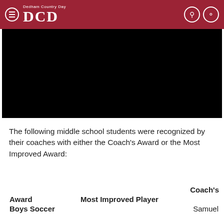DCD Dedham Country Day
[Figure (photo): A dark/black image area, likely a photo of a sports event or school activity, rendered as a black rectangle.]
The following middle school students were recognized by their coaches with either the Coach's Award or the Most Improved Award:
| Award | Most Improved Player | Coach's |
| --- | --- | --- |
| Boys Soccer |  | Samuel |